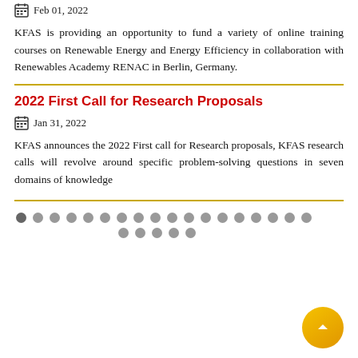Feb 01, 2022
KFAS is providing an opportunity to fund a variety of online training courses on Renewable Energy and Energy Efficiency in collaboration with Renewables Academy RENAC in Berlin, Germany.
2022 First Call for Research Proposals
Jan 31, 2022
KFAS announces the 2022 First call for Research proposals, KFAS research calls will revolve around specific problem-solving questions in seven domains of knowledge